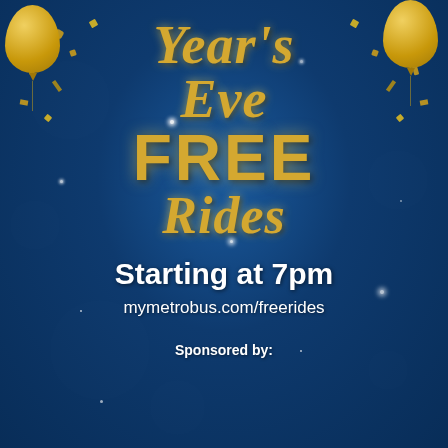Year's Eve FREE Rides
Starting at 7pm
mymetrobus.com/freerides
Sponsored by: